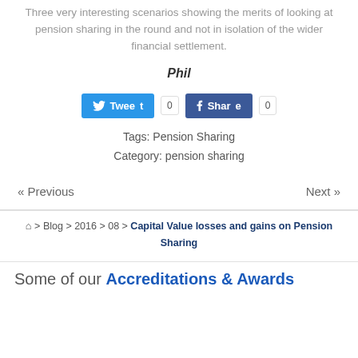Three very interesting scenarios showing the merits of looking at pension sharing in the round and not in isolation of the wider financial settlement.
Phil
Tweet 0  Share 0
Tags: Pension Sharing
Category: pension sharing
« Previous   Next »
⌂ > Blog > 2016 > 08 > Capital Value losses and gains on Pension Sharing
Some of our Accreditations & Awards